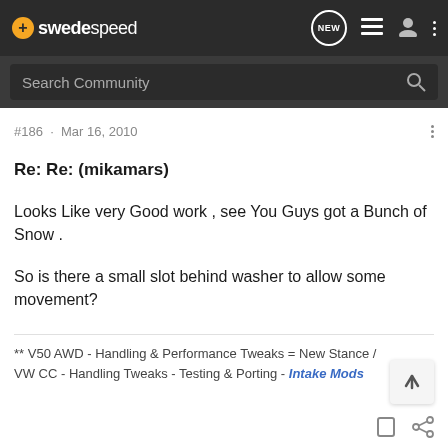swedespeed
#186 · Mar 16, 2010
Re: Re: (mikamars)
Looks Like very Good work , see You Guys got a Bunch of Snow .
So is there a small slot behind washer to allow some movement?
** V50 AWD - Handling & Performance Tweaks = New Stance / VW CC - Handling Tweaks - Testing & Porting - Intake Mods